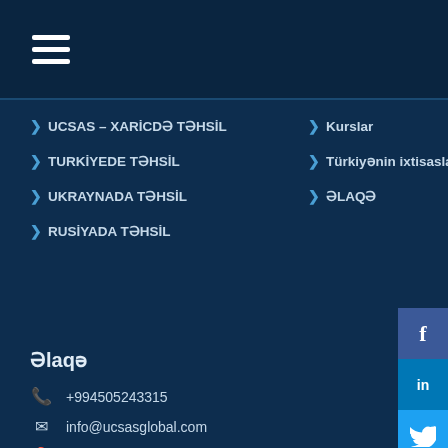Navigation menu header bar with hamburger icon
› UCSAS – XARİCDƏ TƏHSİL
› TURKİYEDE TƏHSİL
› UKRAYNADA TƏHSİL
› RUSİYADA TƏHSİL
› Kurslar
› Türkiyənin ixtisasları
› ƏLAQƏ
Əlaqə
+994505243315
info@ucsasglobal.com
Nizami rayonu, Əlibəy Hüseynzadə 71, (Nizami M/S